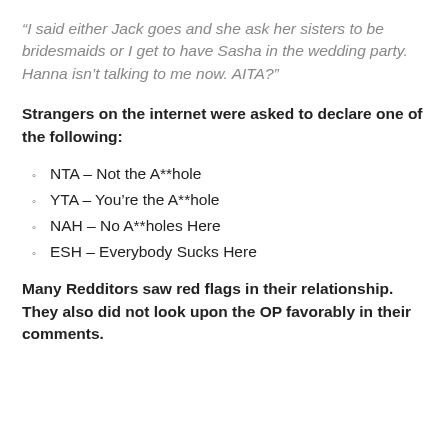“I said either Jack goes and she ask her sisters to be bridesmaids or I get to have Sasha in the wedding party. Hanna isn’t talking to me now. AITA?”
Strangers on the internet were asked to declare one of the following:
NTA – Not the A**hole
YTA – You’re the A**hole
NAH – No A**holes Here
ESH – Everybody Sucks Here
Many Redditors saw red flags in their relationship. They also did not look upon the OP favorably in their comments.